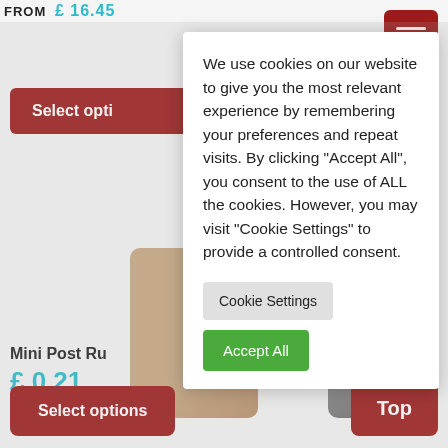FROM £ 16.45
[Figure (screenshot): Hamburger menu icon (three white horizontal bars on dark red background)]
Select opti
[Figure (photo): Product image left - tan/beige colored item]
[Figure (photo): Product image right - grey colored item with text 'n uk']
Mini Post Ru
£ 0.21
Select options
Top
We use cookies on our website to give you the most relevant experience by remembering your preferences and repeat visits. By clicking “Accept All”, you consent to the use of ALL the cookies. However, you may visit “Cookie Settings” to provide a controlled consent.
Cookie Settings
Accept All